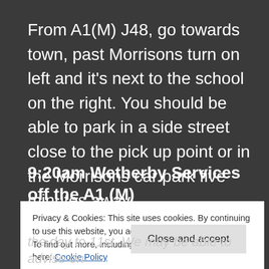From A1(M) J48, go towards town, past Morrisons turn on left and it's next to the school on the right. You should be able to park in a side street close to the pick up point or in the Morrisons car park five minutes away
9:20am Wetherby Services off the A1 (M)
Privacy & Cookies: This site uses cookies. By continuing to use this website, you agree to their use.
To find out more, including how to control cookies, see here: Cookie Policy
[Close and accept]
the day to 11st. We may be able to advise on